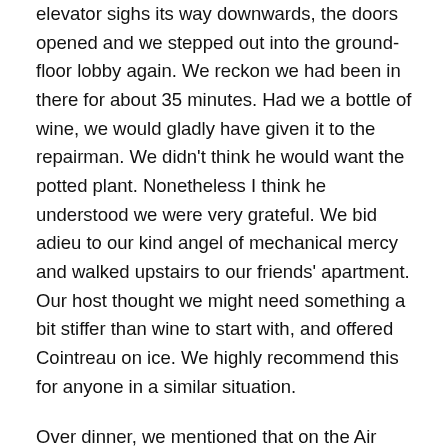elevator sighs its way downwards, the doors opened and we stepped out into the ground-floor lobby again. We reckon we had been in there for about 35 minutes. Had we a bottle of wine, we would gladly have given it to the repairman. We didn't think he would want the potted plant. Nonetheless I think he understood we were very grateful. We bid adieu to our kind angel of mechanical mercy and walked upstairs to our friends' apartment. Our host thought we might need something a bit stiffer than wine to start with, and offered Cointreau on ice. We highly recommend this for anyone in a similar situation.
Over dinner, we mentioned that on the Air France flight a week earlier, we had seen a 1982 film that is often replayed at Christmastime: Le Père Noël est une ordure (Santa Claus is a bastard). It is a frantic comedy set in the offices of a crisis call centre on Christmas Eve. In the film,